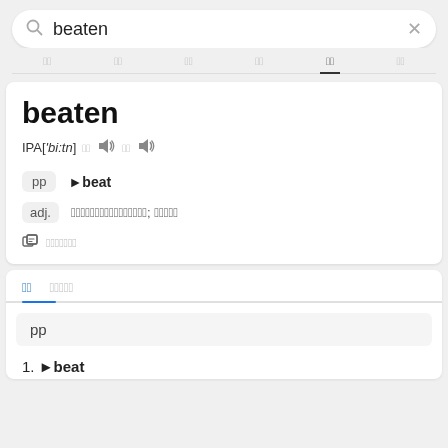beaten (search query)
beaten
IPA['bi:tn]
pp ▶beat
adj. [Chinese definitions]; [Chinese]
pp section header
1. ▶beat